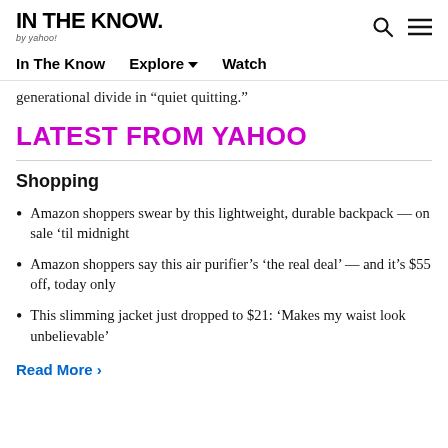IN THE KNOW. by yahoo!
In The Know   Explore ▾   Watch
generational divide in “quiet quitting.”
LATEST FROM YAHOO
Shopping
Amazon shoppers swear by this lightweight, durable backpack — on sale ’til midnight
Amazon shoppers say this air purifier’s ‘the real deal’ — and it’s $55 off, today only
This slimming jacket just dropped to $21: ‘Makes my waist look unbelievable’
Read More ›